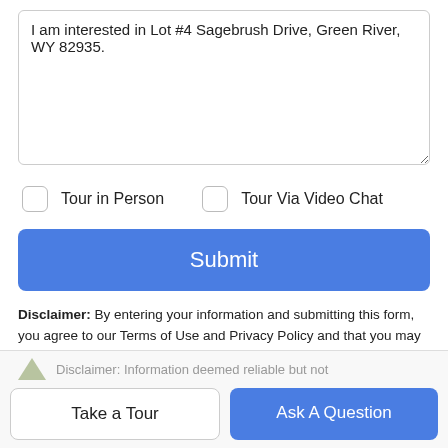I am interested in Lot #4 Sagebrush Drive, Green River, WY 82935.
Tour in Person
Tour Via Video Chat
Submit
Disclaimer: By entering your information and submitting this form, you agree to our Terms of Use and Privacy Policy and that you may be contacted by phone, text message and email about your inquiry.
Disclaimer: Information deemed reliable but not
Take a Tour
Ask A Question